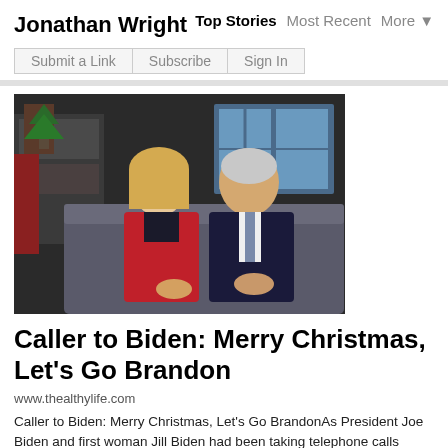Jonathan Wright
Top Stories  Most Recent  More ▼
Submit a Link  Subscribe  Sign In
[Figure (photo): Photo of a woman in a red jacket and a man in a dark suit sitting on a couch, appearing to be in a decorated room with Christmas decorations visible in the background.]
Caller to Biden: Merry Christmas, Let's Go Brandon
www.thealthylife.com
Caller to Biden: Merry Christmas, Let's Go BrandonAs President Joe Biden and first woman Jill Biden had been taking telephone calls Christmas Eve for NORAD's Santa tracker hotline, a father e…